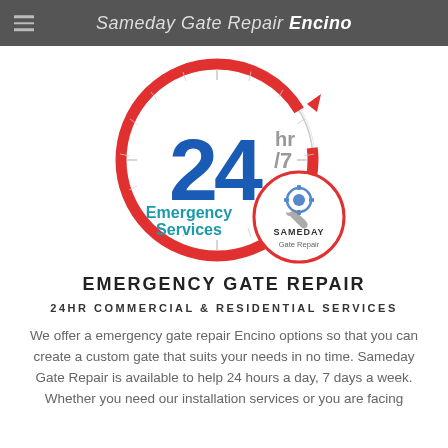Sameday Gate Repair Encino
[Figure (logo): 24hr/7 Emergency Services circular badge with red arrow clock outline and Sameday Gate Repair logo badge]
EMERGENCY GATE REPAIR
24HR COMMERCIAL & RESIDENTIAL SERVICES
We offer a emergency gate repair Encino options so that you can create a custom gate that suits your needs in no time. Sameday Gate Repair is available to help 24 hours a day, 7 days a week. Whether you need our installation services or you are facing